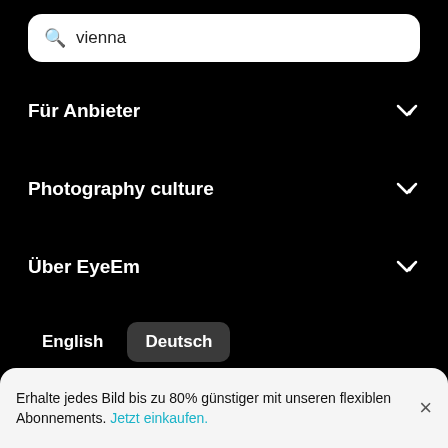[Figure (screenshot): Search bar with magnifying glass icon and text 'vienna']
Für Anbieter
Photography culture
Über EyeEm
English   Deutsch
© 2022 EyeEm Mobile GmbH.
Datenschutz   AGB   Impressum
[Figure (other): Social media icons: Facebook, Instagram, Twitter, Vimeo, YouTube]
Erhalte jedes Bild bis zu 80% günstiger mit unseren flexiblen Abonnements. Jetzt einkaufen.